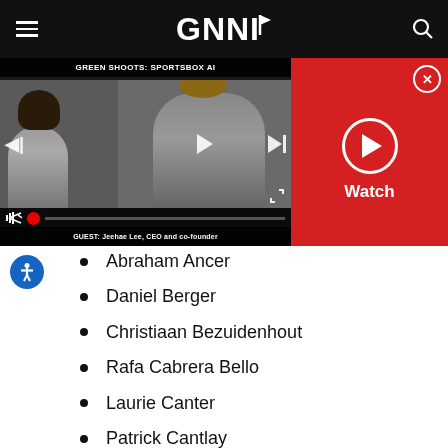GNNI
[Figure (screenshot): Video player showing GREEN SHOOTS: SPORTSBOX AI with two video thumbnails of people, playback controls, and a red Watch panel with play button and close button. Guest caption: GUEST: Jeehae Lee, CEO and co-founder]
Abraham Ancer
Daniel Berger
Christiaan Bezuidenhout
Rafa Cabrera Bello
Laurie Canter
Patrick Cantlay
Cameron Champ